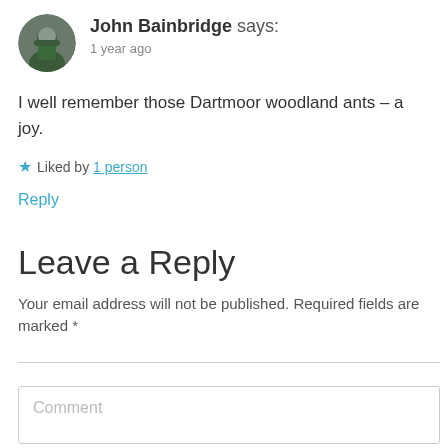[Figure (photo): Circular avatar photo of John Bainbridge, a person in a green jacket outdoors]
John Bainbridge says:
1 year ago
I well remember those Dartmoor woodland ants – a joy.
★ Liked by 1 person
Reply
Leave a Reply
Your email address will not be published. Required fields are marked *
Comment